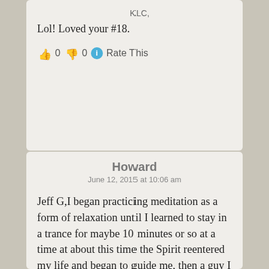KLC,
Lol! Loved your #18.
👍 0 👎 0 ℹ Rate This
Howard
June 12, 2015 at 10:06 am
Jeff G,I began practicing meditation as a form of relaxation until I learned to stay in a trance for maybe 10 minutes or so at a time at about this time the Spirit reentered my life and began to guide me, then a guy I knew fairly well in business showed up and to my surprise began talking about meditation in a lot of depth, it was a life long study for him, he had studied it via many different paths and cultures and he proceeded to explain what was common to all on the paths which was actually pretty simple and my meditation improved quickly. Soon I was meditating